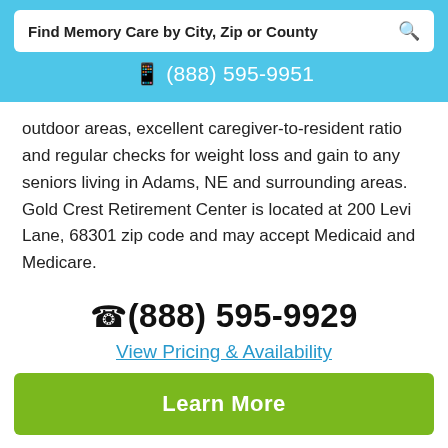Find Memory Care by City, Zip or County
(888) 595-9951
outdoor areas, excellent caregiver-to-resident ratio and regular checks for weight loss and gain to any seniors living in Adams, NE and surrounding areas. Gold Crest Retirement Center is located at 200 Levi Lane, 68301 zip code and may accept Medicaid and Medicare.
(888) 595-9929
View Pricing & Availability
Learn More